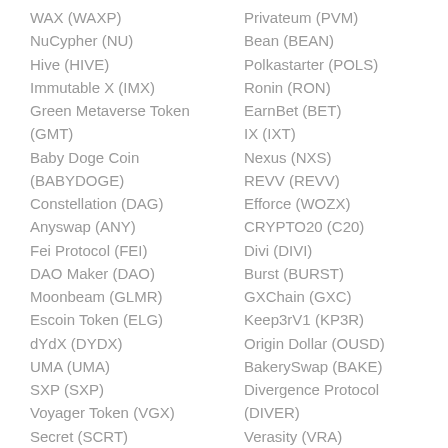WAX (WAXP)
NuCypher (NU)
Hive (HIVE)
Immutable X (IMX)
Green Metaverse Token (GMT)
Baby Doge Coin (BABYDOGE)
Constellation (DAG)
Anyswap (ANY)
Fei Protocol (FEI)
DAO Maker (DAO)
Moonbeam (GLMR)
Escoin Token (ELG)
dYdX (DYDX)
UMA (UMA)
SXP (SXP)
Voyager Token (VGX)
Secret (SCRT)
Privateum (PVM)
Bean (BEAN)
Polkastarter (POLS)
Ronin (RON)
EarnBet (BET)
IX (IXT)
Nexus (NXS)
REVV (REVV)
Efforce (WOZX)
CRYPTO20 (C20)
Divi (DIVI)
Burst (BURST)
GXChain (GXC)
Keep3rV1 (KP3R)
Origin Dollar (OUSD)
BakerySwap (BAKE)
Divergence Protocol (DIVER)
Verasity (VRA)